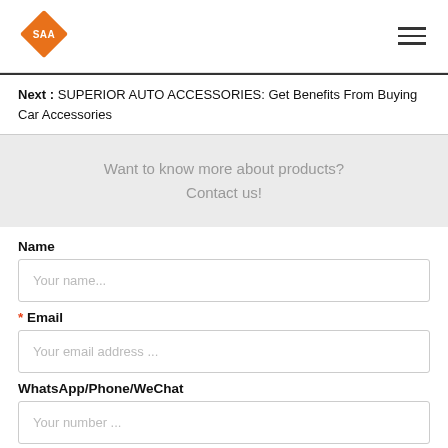[Figure (logo): Orange diamond/rhombus logo with white text 'SAA' inside]
Next : SUPERIOR AUTO ACCESSORIES: Get Benefits From Buying Car Accessories
Want to know more about products? Contact us!
Name
Your name...
* Email
Your email address ...
WhatsApp/Phone/WeChat
Your number ...